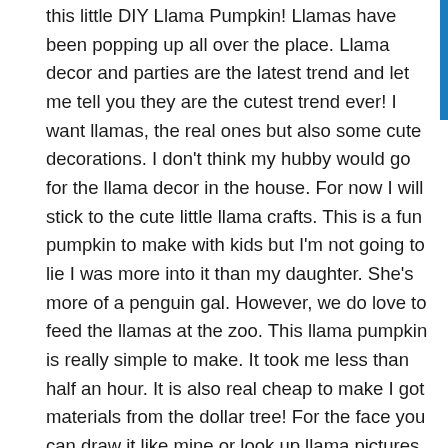this little DIY Llama Pumpkin! Llamas have been popping up all over the place. Llama decor and parties are the latest trend and let me tell you they are the cutest trend ever! I want llamas, the real ones but also some cute decorations. I don't think my hubby would go for the llama decor in the house. For now I will stick to the cute little llama crafts. This is a fun pumpkin to make with kids but I'm not going to lie I was more into it than my daughter. She's more of a penguin gal. However, we do love to feed the llamas at the zoo. This llama pumpkin is really simple to make. It took me less than half an hour. It is also real cheap to make I got materials from the dollar tree! For the face you can draw it like mine or look up llama pictures for inspiration. I added a flower crown but you can do it without the flowers as well.
read more